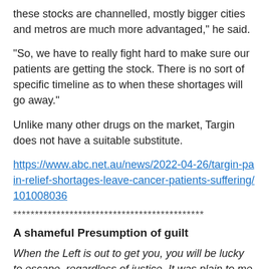these stocks are channelled, mostly bigger cities and metros are much more advantaged," he said.
"So, we have to really fight hard to make sure our patients are getting the stock. There is no sort of specific timeline as to when these shortages will go away."
Unlike many other drugs on the market, Targin does not have a suitable substitute.
https://www.abc.net.au/news/2022-04-26/targin-pain-relief-shortages-leave-cancer-patients-suffering/101008036
********************************************
A shameful Presumption of guilt
When the Left is out to get you, you will be lucky to escape, regardless of justice. It was plain to me from the behginning that this was another Dreyfus case. It pained me to hear what this good and holy man was put through -- JR